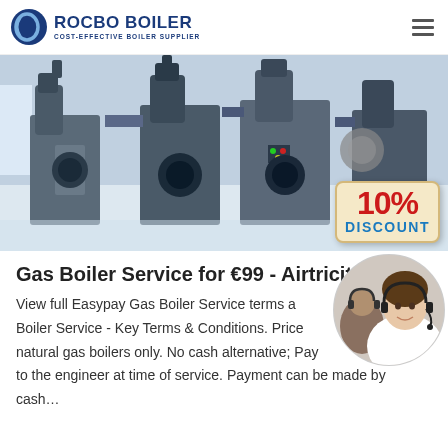ROCBO BOILER — COST-EFFECTIVE BOILER SUPPLIER
[Figure (photo): Industrial gas boilers in a facility with a 10% DISCOUNT badge overlay]
Gas Boiler Service for €99 - Airtricity
[Figure (photo): Customer service representative wearing a headset, smiling]
View full Easypay Gas Boiler Service terms a... Boiler Service - Key Terms & Conditions. Price... natural gas boilers only. No cash alternative; Pay... to the engineer at time of service. Payment can be made by cash...